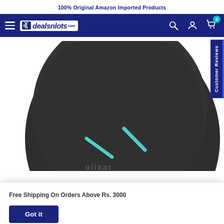100% Original Amazon Imported Products
[Figure (logo): dealsnlots.com logo with navigation bar including hamburger menu, search, account and cart icons]
[Figure (photo): Top-down view of a dark grey/black oval wireless charging pad (Olixar brand) with teal/cyan LED indicator marks visible on its surface. A 'Customer Reviews' vertical tab is visible on the right side.]
Free Shipping On Orders Above Rs. 3000
Got it